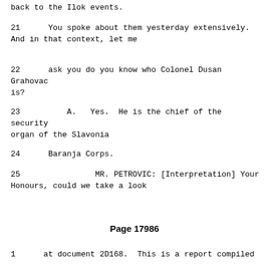back to the Ilok events.
21      You spoke about them yesterday extensively. And in that context, let me
22      ask you do you know who Colonel Dusan Grahovac is?
23          A.   Yes.  He is the chief of the security organ of the Slavonia
24      Baranja Corps.
25               MR. PETROVIC: [Interpretation] Your Honours, could we take a look
Page 17986
1      at document 2D168.  This is a report compiled